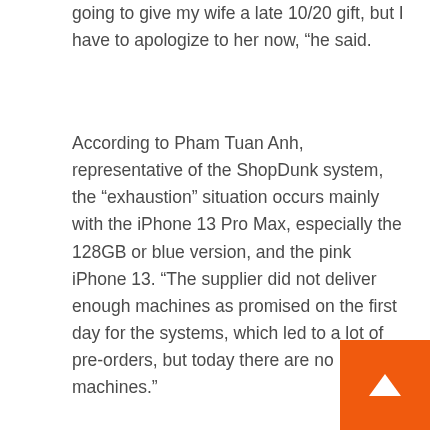going to give my wife a late 10/20 gift, but I have to apologize to her now, “he said.
According to Pham Tuan Anh, representative of the ShopDunk system, the “exhaustion” situation occurs mainly with the iPhone 13 Pro Max, especially the 128GB or blue version, and the pink iPhone 13. “The supplier did not deliver enough machines as promised on the first day for the systems, which led to a lot of pre-orders, but today there are no machines.”
[Figure (other): Orange back-to-top button with white upward arrow chevron in the bottom-right corner]